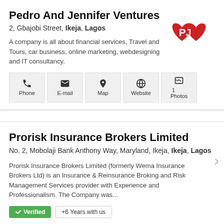Pedro And Jennifer Ventures
2, Gbajobi Street, Ikeja, Lagos
A company is all about financial services, Travel and Tours, car business, online marketing, webdesigning and IT consultancy.
[Figure (logo): PJ logo with red hearts and white PJ letters]
Phone | E-mail | Map | Website | 1 Photos
Prorisk Insurance Brokers Limited
No. 2, Mobolaji Bank Anthony Way, Maryland, Ikeja, Ikeja, Lagos
Prorisk Insurance Brokers Limited (formerly Wema Insurance Brokers Ltd) is an Insurance & Reinsurance Broking and Risk Management Services provider with Experience and Professionalism. The Company was...
Verified | +6 Years with us